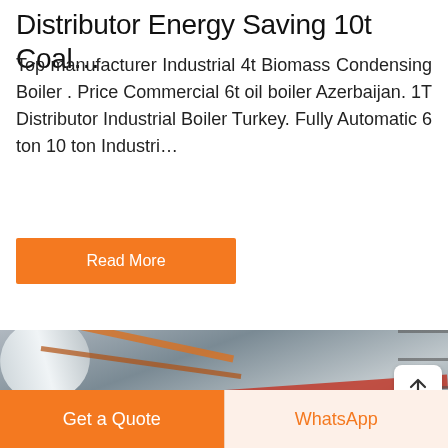Distributor Energy Saving 10t Coal…
Top manufacturer Industrial 4t Biomass Condensing Boiler . Price Commercial 6t oil boiler Azerbaijan. 1T Distributor Industrial Boiler Turkey. Fully Automatic 6 ton 10 ton Industri…
Read More
[Figure (photo): Industrial boiler room interior showing large cylindrical boilers, pipes (red horizontal pipes on ceiling, yellow vertical pipe), blue motor, scaffolding on right wall, and large white air duct at top left. View from below looking up at the ceiling beams and equipment.]
Get a Quote
WhatsApp